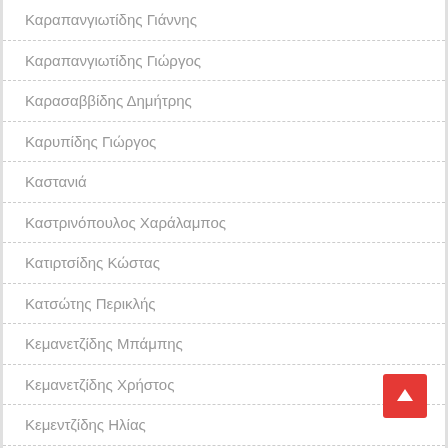Καραπανγιωτίδης Γιάννης
Καραπανγιωτίδης Γιώργος
Καρασαββίδης Δημήτρης
Καρυπίδης Γιώργος
Καστανιά
Καστρινόπουλος Χαράλαμπος
Κατιρτσίδης Κώστας
Κατσώτης Περικλής
Κεμανετζίδης Μπάμπης
Κεμανετζίδης Χρήστος
Κεμεντζίδης Ηλίας
Κεσαπίδης Φίλιππος
Κεσίδης Γιώργος